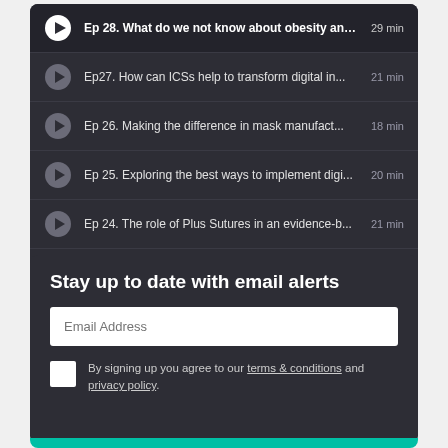Ep 28. What do we not know about obesity and... 29 min
Ep27. How can ICSs help to transform digital in... 21 min
Ep 26. Making the difference in mask manufact... 18 min
Ep 25. Exploring the best ways to implement digi... 20 min
Ep 24. The role of Plus Sutures in an evidence-b... 21 min
Ep 23. Improving care for long-term conditions, ... 41 min
Stay up to date with email alerts
Email Address
By signing up you agree to our terms & conditions and privacy policy.